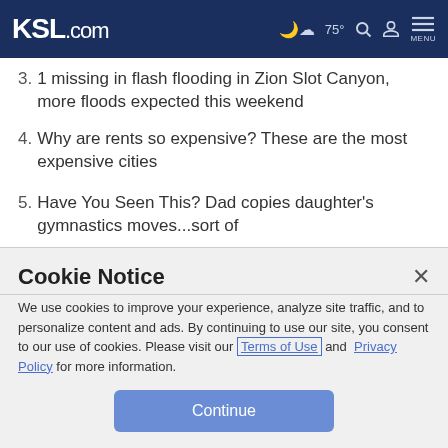KSL.com | 75° [weather icon] [search] [account] MENU
3. 1 missing in flash flooding in Zion Slot Canyon, more floods expected this weekend
4. Why are rents so expensive? These are the most expensive cities
5. Have You Seen This? Dad copies daughter's gymnastics moves...sort of
6. Utah Little League team loses first game of World Series
Cookie Notice
We use cookies to improve your experience, analyze site traffic, and to personalize content and ads. By continuing to use our site, you consent to our use of cookies. Please visit our Terms of Use and Privacy Policy for more information.
Continue